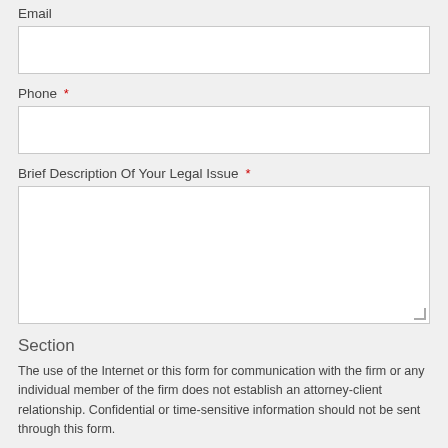Email
[Figure (other): Empty text input box for Email field]
Phone *
[Figure (other): Empty text input box for Phone field]
Brief Description Of Your Legal Issue *
[Figure (other): Empty textarea for Brief Description Of Your Legal Issue]
Section
The use of the Internet or this form for communication with the firm or any individual member of the firm does not establish an attorney-client relationship. Confidential or time-sensitive information should not be sent through this form.
Disclaimer *